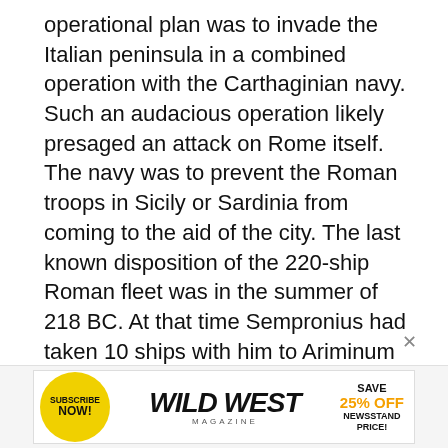operational plan was to invade the Italian peninsula in a combined operation with the Carthaginian navy. Such an audacious operation likely presaged an attack on Rome itself. The navy was to prevent the Roman troops in Sicily or Sardinia from coming to the aid of the city. The last known disposition of the 220-ship Roman fleet was in the summer of 218 BC. At that time Sempronius had taken 10 ships with him to Ariminum on the Adriatic, leaving behind some 150 to protect Sicily. Another 30 ships were on duty with the Scipios in Spain. Thus, only 30 or so ships were available to protect the capital. The arrival of 70 Punic warships off the Etruscan coast gave the Carthaginians a numerical advantage in the immediate theater of operations.
[Figure (other): Advertisement banner for Wild West Magazine: circular yellow badge with 'SUBSCRIBE NOW!' text, large bold 'WILD WEST MAGAZINE' title in center, and 'SAVE 25% OFF NEWSSTAND PRICE!' offer text on the right.]